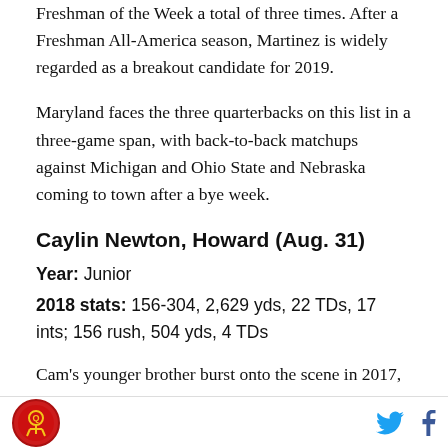Freshman of the Week a total of three times. After a Freshman All-America season, Martinez is widely regarded as a breakout candidate for 2019.
Maryland faces the three quarterbacks on this list in a three-game span, with back-to-back matchups against Michigan and Ohio State and Nebraska coming to town after a bye week.
Caylin Newton, Howard (Aug. 31)
Year: Junior
2018 stats: 156-304, 2,629 yds, 22 TDs, 17 ints; 156 rush, 504 yds, 4 TDs
Cam's younger brother burst onto the scene in 2017,
Logo and social icons